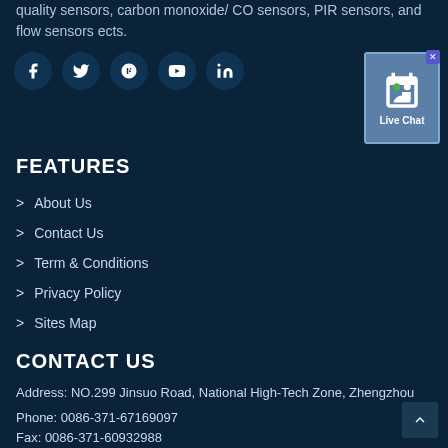quality sensors, carbon monoxide/ CO sensors, PIR sensors, and flow sensors ects.
[Figure (infographic): Social media icons row: Facebook, Twitter, Google+, YouTube, LinkedIn — white icons on dark teal circular backgrounds. Live Chat widget in top-right corner.]
FEATURES
> About Us
> Contact Us
> Term & Conditions
> Privacy Policy
> Sites Map
CONTACT US
Address: NO.299 Jinsuo Road, National High-Tech Zone, Zhengzhou
Phone: 0086-371-67169097
Fax: 0086-371-60932988